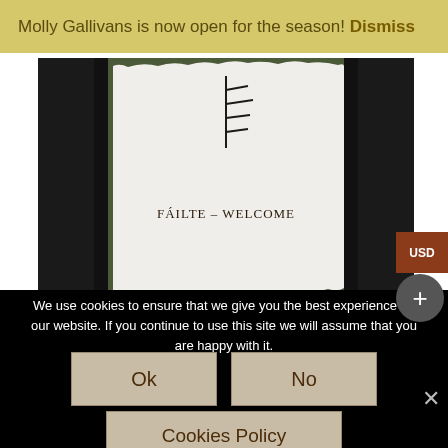Molly Gallivans is now open for the season! Dismiss
[Figure (photo): A handmade paper card with an ogham script symbol at the top and 'FAILTE - WELCOME' written below, placed on dark book covers on green grass]
We use cookies to ensure that we give you the best experience on our website. If you continue to use this site we will assume that you are happy with it.
Ok
No
Cookies Policy